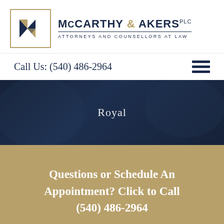[Figure (logo): McCarthy & Akers PLC law firm logo with stylized M lettermark in a gold-bordered box, beside firm name text]
Call Us: (540) 486-2964
Royal
Questions or Schedule An Appointment? Click to Call (540) 486-2964